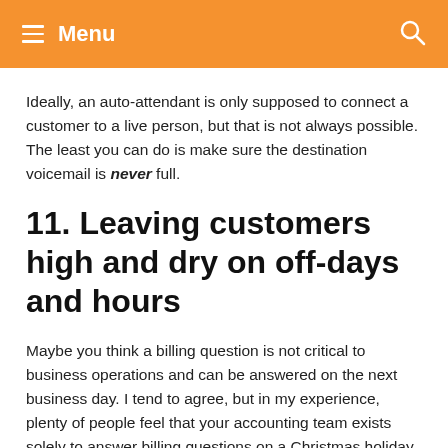Menu
Ideally, an auto-attendant is only supposed to connect a customer to a live person, but that is not always possible. The least you can do is make sure the destination voicemail is never full.
11.  Leaving customers high and dry on off-days and hours
Maybe you think a billing question is not critical to business operations and can be answered on the next business day. I tend to agree, but in my experience, plenty of people feel that your accounting team exists solely to answer billing questions on a Christmas holiday. So, for those sort of callers, here's a surefire way to keep them guessing when that holiday begins